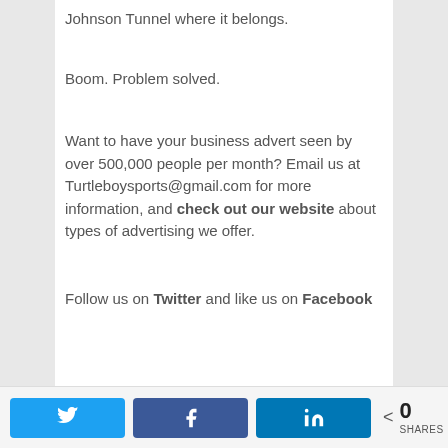Johnson Tunnel where it belongs.
Boom. Problem solved.
Want to have your business advert seen by over 500,000 people per month? Email us at Turtleboysports@gmail.com for more information, and check out our website about types of advertising we offer.
Follow us on Twitter and like us on Facebook
Share buttons: Twitter, Facebook, LinkedIn | 0 SHARES